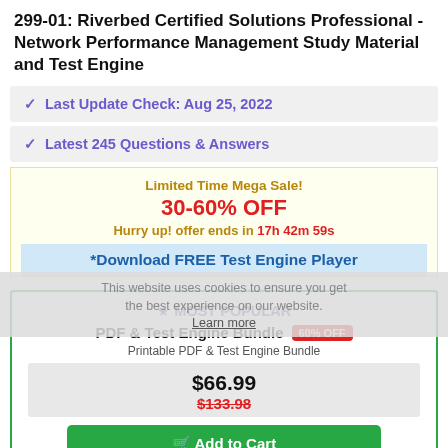299-01: Riverbed Certified Solutions Professional - Network Performance Management Study Material and Test Engine
Last Update Check: Aug 25, 2022
Latest 245 Questions & Answers
Limited Time Mega Sale!
30-60% OFF
Hurry up! offer ends in 17h 42m 59s
*Download FREE Test Engine Player
This website uses cookies to ensure you get the best experience on our website. Learn more
MOST POPULAR
PDF & Test Engine Bundle 60% OFF
Printable PDF & Test Engine Bundle
$66.99
$133.98
Add to Cart